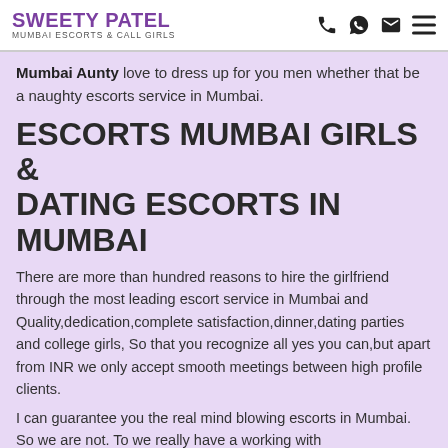SWEETY PATEL — MUMBAI ESCORTS & CALL GIRLS
Mumbai Aunty love to dress up for you men whether that be a naughty escorts service in Mumbai.
ESCORTS MUMBAI GIRLS & DATING ESCORTS IN MUMBAI
There are more than hundred reasons to hire the girlfriend through the most leading escort service in Mumbai and Quality,dedication,complete satisfaction,dinner,dating parties and college girls, So that you recognize all yes you can,but apart from INR we only accept smooth meetings between high profile clients.
I can guarantee you the real mind blowing escorts in Mumbai. So we are not. To we really have a working with